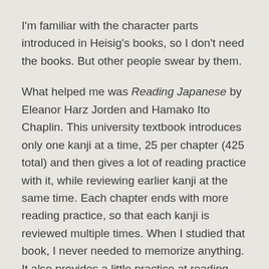I'm familiar with the character parts introduced in Heisig's books, so I don't need the books. But other people swear by them.
What helped me was Reading Japanese by Eleanor Harz Jorden and Hamako Ito Chaplin. This university textbook introduces only one kanji at a time, 25 per chapter (425 total) and then gives a lot of reading practice with it, while reviewing earlier kanji at the same time. Each chapter ends with more reading practice, so that each kanji is reviewed multiple times. When I studied that book, I never needed to memorize anything. It also provides a little practice at reading handwritten Japanese, a skill rarely taught elsewhere.